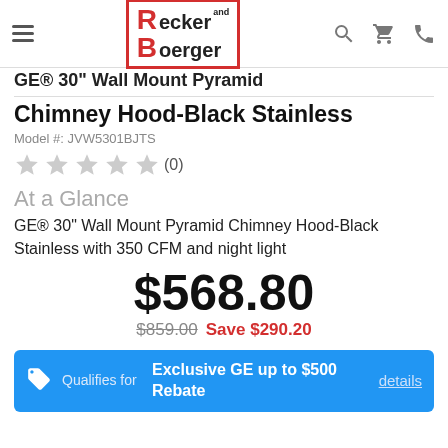Recker and Boerger
GE® 30" Wall Mount Pyramid Chimney Hood-Black Stainless
Model #: JVW5301BJTS
★★★★★ (0)
At a Glance
GE® 30" Wall Mount Pyramid Chimney Hood-Black Stainless with 350 CFM and night light
$568.80
$859.00  Save $290.20
Qualifies for  Exclusive GE up to $500 Rebate  details